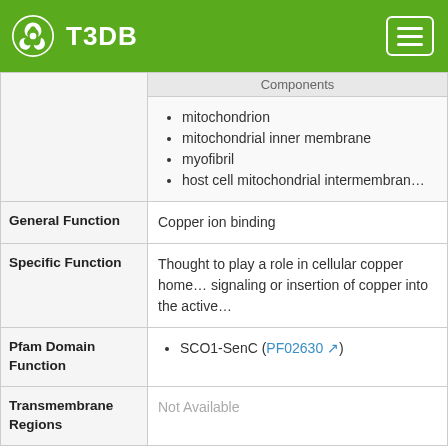T3DB
| Field | Value |
| --- | --- |
| (Cellular Components - partial) | mitochondrion
mitochondrial inner membrane
myofibril
host cell mitochondrial intermembrane... |
| General Function | Copper ion binding |
| Specific Function | Thought to play a role in cellular copper homeostasis; signaling or insertion of copper into the active... |
| Pfam Domain Function | SCO1-SenC (PF02630) |
| Transmembrane Regions | Not Available |